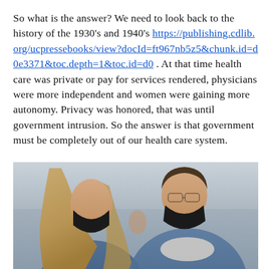So what is the answer? We need to look back to the history of the 1930's and 1940's https://publishing.cdlib.org/ucpressebooks/view?docId=ft967nb5z5&chunk.id=d0e3371&toc.depth=1&toc.id=d0 . At that time health care was private or pay for services rendered, physicians were more independent and women were gaining more autonomy. Privacy was honored, that was until government intrusion. So the answer is that government must be completely out of our health care system.
[Figure (photo): A couple facing each other closely, both wearing black face masks, outdoors with a blurred background. The woman has long blonde hair and the man is wearing a denim jacket.]